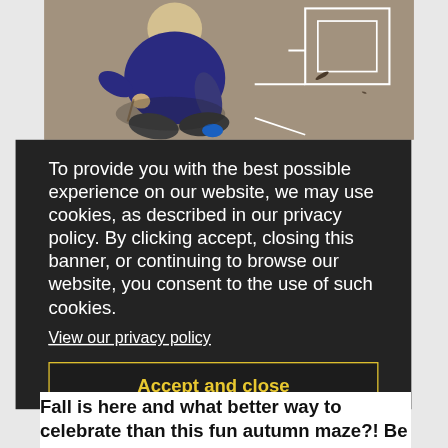[Figure (photo): Overhead view of a young child (blonde hair, dark blue top, dark pants) kneeling on a carpeted floor, working on what appears to be a maze or puzzle drawn on the floor. White geometric lines are visible on the carpet.]
To provide you with the best possible experience on our website, we may use cookies, as described in our privacy policy. By clicking accept, closing this banner, or continuing to browse our website, you consent to the use of such cookies.
View our privacy policy
Accept and close
Fall is here and what better way to celebrate than this fun autumn maze?! Be sure to check out more